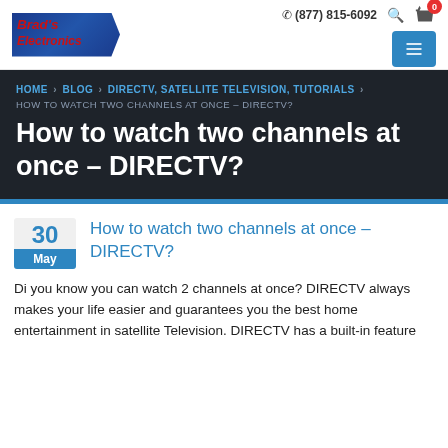Brad's Electronics | (877) 815-6092
HOME > BLOG > DIRECTV, SATELLITE TELEVISION, TUTORIALS >
HOW TO WATCH TWO CHANNELS AT ONCE – DIRECTV?
How to watch two channels at once – DIRECTV?
How to watch two channels at once – DIRECTV?
30 May
Di you know you can watch 2 channels at once? DIRECTV always makes your life easier and guarantees you the best home entertainment in satellite Television. DIRECTV has a built-in feature